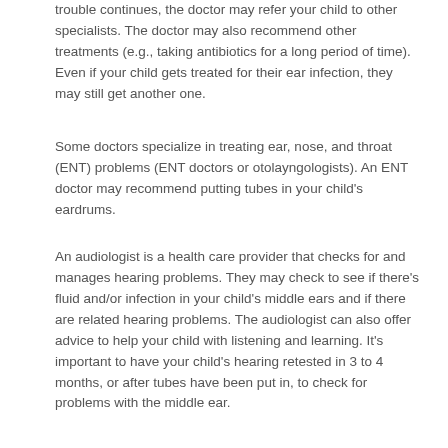trouble continues, the doctor may refer your child to other specialists. The doctor may also recommend other treatments (e.g., taking antibiotics for a long period of time). Even if your child gets treated for their ear infection, they may still get another one.
Some doctors specialize in treating ear, nose, and throat (ENT) problems (ENT doctors or otolayngologists). An ENT doctor may recommend putting tubes in your child's eardrums.
An audiologist is a health care provider that checks for and manages hearing problems. They may check to see if there's fluid and/or infection in your child's middle ears and if there are related hearing problems. The audiologist can also offer advice to help your child with listening and learning. It's important to have your child's hearing retested in 3 to 4 months, or after tubes have been put in, to check for problems with the middle ear.